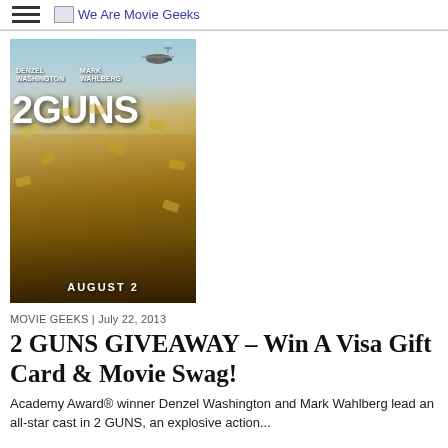We Are Movie Geeks
[Figure (photo): Movie poster for '2 GUNS' featuring Denzel Washington and Mark Wahlberg. Text on poster: DENZEL WASHINGTON, MARK WAHLBERG, 2 GUNS, AUGUST 2.]
MOVIE GEEKS | July 22, 2013
2 GUNS GIVEAWAY – Win A Visa Gift Card & Movie Swag!
Academy Award® winner Denzel Washington and Mark Wahlberg lead an all-star cast in 2 GUNS, an explosive action...